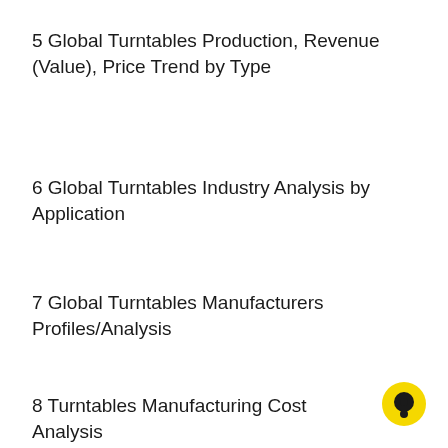5 Global Turntables Production, Revenue (Value), Price Trend by Type
6 Global Turntables Industry Analysis by Application
7 Global Turntables Manufacturers Profiles/Analysis
8 Turntables Manufacturing Cost Analysis